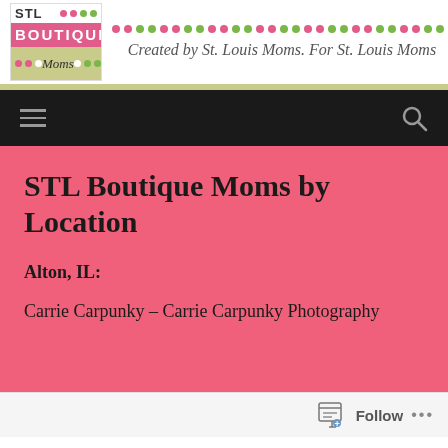[Figure (logo): STL Boutique Moms logo with pink and green dots, pink background for BOUTIQUE text]
Created by St. Louis Moms. For St. Louis Moms
STL Boutique Moms by Location
Alton, IL:
Carrie Carpunky – Carrie Carpunky Photography
Follow